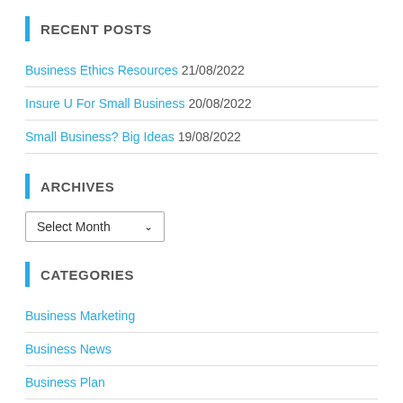RECENT POSTS
Business Ethics Resources 21/08/2022
Insure U For Small Business 20/08/2022
Small Business? Big Ideas 19/08/2022
ARCHIVES
Select Month
CATEGORIES
Business Marketing
Business News
Business Plan